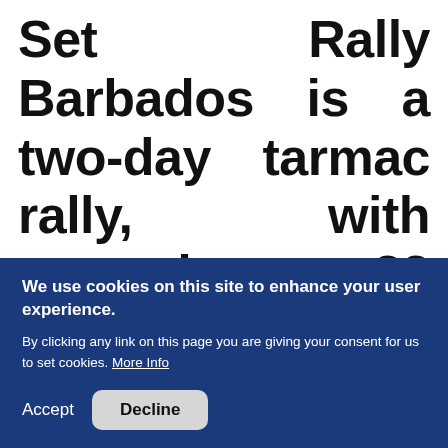two-day tarmac rally, with around 22 special stages run on the island's intricate network of public roads, under road closure
We use cookies on this site to enhance your user experience. By clicking any link on this page you are giving your consent for us to set cookies. More Info